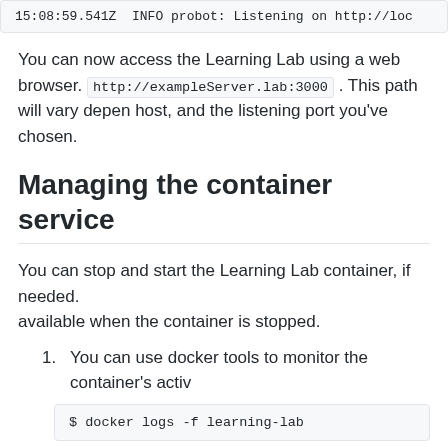15:08:59.541Z  INFO probot: Listening on http://loc
You can now access the Learning Lab using a web browser. http://exampleServer.lab:3000 . This path will vary depending on your host, and the listening port you've chosen.
Managing the container service
You can stop and start the Learning Lab container, if needed. available when the container is stopped.
1. You can use docker tools to monitor the container's activ
$ docker logs -f learning-lab
2. To stop the container:
$ docker stop learning-lab (partial)